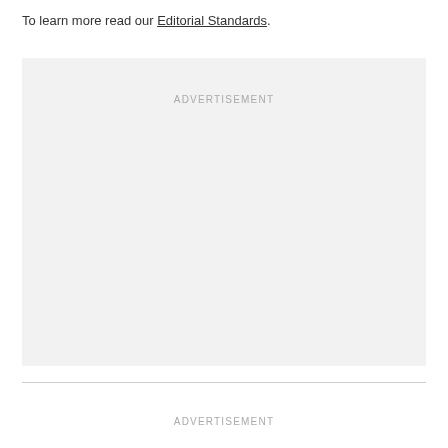To learn more read our Editorial Standards.
[Figure (other): Advertisement placeholder box with 'ADVERTISEMENT' label centered at top]
ADVERTISEMENT